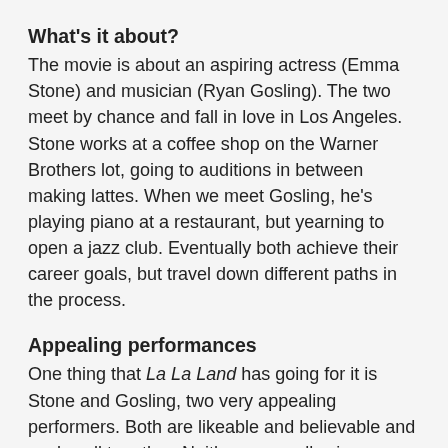What's it about?
The movie is about an aspiring actress (Emma Stone) and musician (Ryan Gosling). The two meet by chance and fall in love in Los Angeles. Stone works at a coffee shop on the Warner Brothers lot, going to auditions in between making lattes. When we meet Gosling, he's playing piano at a restaurant, but yearning to open a jazz club. Eventually both achieve their career goals, but travel down different paths in the process.
Appealing performances
One thing that La La Land has going for it is Stone and Gosling, two very appealing performers. Both are likeable and believable and work well together. Neither can really sing nor dance, although I found their singing pleasant enough. The plot isn't particularly original, but there are really no original plots anymore and some of the best musicals are very thin in that area anyway.
Cinemascope, but not Cinemascope
The movie opens with a partial image of the Cinemascope